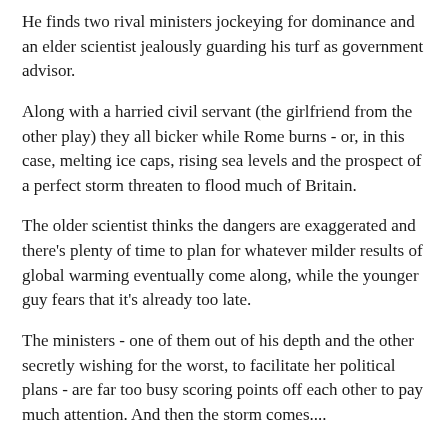He finds two rival ministers jockeying for dominance and an elder scientist jealously guarding his turf as government advisor.
Along with a harried civil servant (the girlfriend from the other play) they all bicker while Rome burns - or, in this case, melting ice caps, rising sea levels and the prospect of a perfect storm threaten to flood much of Britain.
The older scientist thinks the dangers are exaggerated and there's plenty of time to plan for whatever milder results of global warming eventually come along, while the younger guy fears that it's already too late.
The ministers - one of them out of his depth and the other secretly wishing for the worst, to facilitate her political plans - are far too busy scoring points off each other to pay much attention. And then the storm comes....
As a polemic, Resilience makes all its arguments clearly - it's going to happen, we can't stop it, and the best we can do is prepare to cope with the new reality when it arrives.
That means building dykes, moving the populace inland and writing Norfolk and East Anglia off as lost causes - and we should have started doing this thirty years ago because the last minute will be too late.